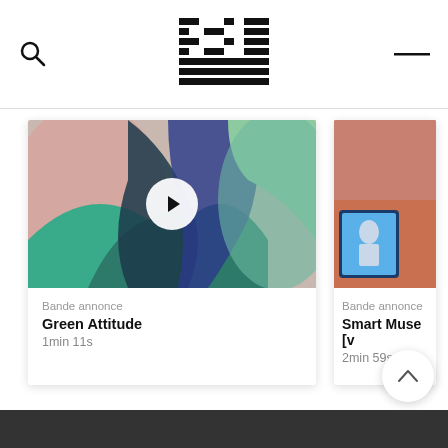[Figure (logo): Striped geometric logo in header center]
[Figure (screenshot): Video thumbnail card: Bande annonce - Green Attitude, 1min 11s, with play button]
Bande annonce
Green Attitude
1min 11s
[Figure (screenshot): Partial video thumbnail card: Bande annonce - Smart Muse [v...], 2min 59s]
Bande annonce
Smart Muse [v...
2min 59s